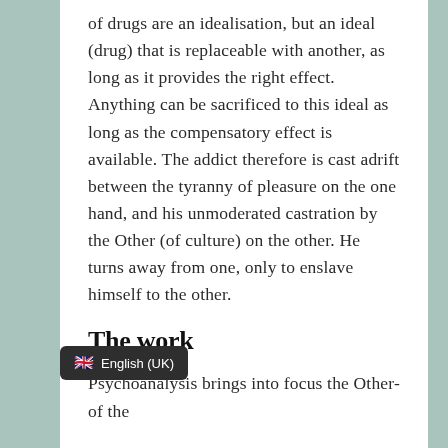of drugs are an idealisation, but an ideal (drug) that is replaceable with another, as long as it provides the right effect. Anything can be sacrificed to this ideal as long as the compensatory effect is available. The addict therefore is cast adrift between the tyranny of pleasure on the one hand, and his unmoderated castration by the Other (of culture) on the other. He turns away from one, only to enslave himself to the other.
The work
Psychoanalysis brings into focus the Other-of the [obscured] it is to nurture a process of [obscured] ose links to structure that have